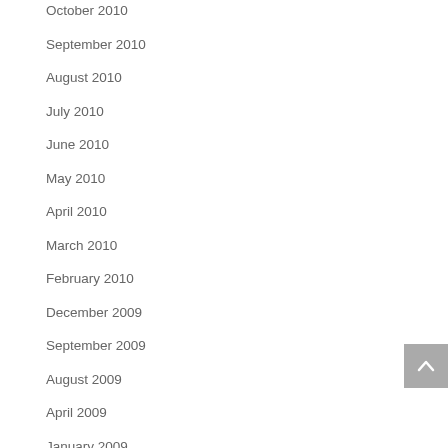October 2010
September 2010
August 2010
July 2010
June 2010
May 2010
April 2010
March 2010
February 2010
December 2009
September 2009
August 2009
April 2009
January 2009
November 2008